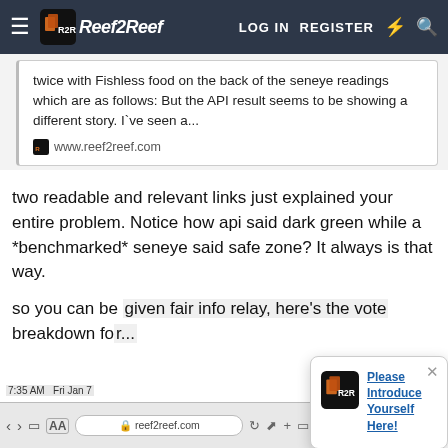Reef2Reef — LOG IN  REGISTER
twice with Fishless food on the back of the seneye readings which are as follows: But the API result seems to be showing a different story. I`ve seen a...
www.reef2reef.com
two readable and relevant links just explained your entire problem. Notice how api said dark green while a *benchmarked* seneye said safe zone? It always is that way.
so you can be given fair info relay, here's the vote breakdown fo...
[Figure (screenshot): Popup notification with Reef2Reef logo and text 'Please Introduce Yourself Here!' with a close button]
7:35 AM  Fri Jan 7  reef2reef.com